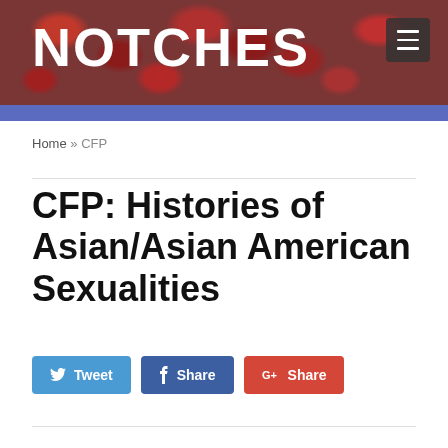NOTCHES
Home » CFP
CFP: Histories of Asian/Asian American Sexualities
Tweet  Share  Share